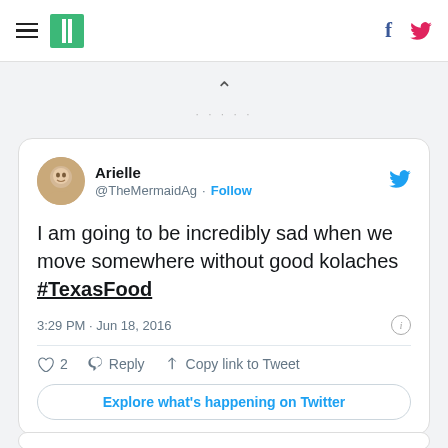HuffPost navigation with hamburger menu, logo, Facebook and Twitter icons
[Figure (screenshot): Embedded tweet from @TheMermaidAg (Arielle) reading: I am going to be incredibly sad when we move somewhere without good kolaches #TexasFood. Posted 3:29 PM · Jun 18, 2016. 2 likes. Actions: Reply, Copy link to Tweet. Explore what's happening on Twitter button.]